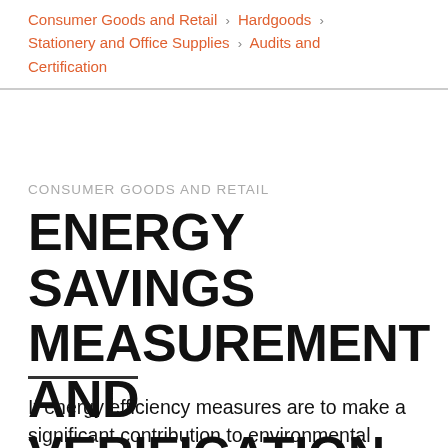Consumer Goods and Retail › Hardgoods › Stationery and Office Supplies › Audits and Certification
CONSUMER GOODS AND RETAIL
ENERGY SAVINGS MEASUREMENT AND VERIFICATION (M&V)
If energy efficiency measures are to make a significant contribution to environmental sustainability, measurement and verification of